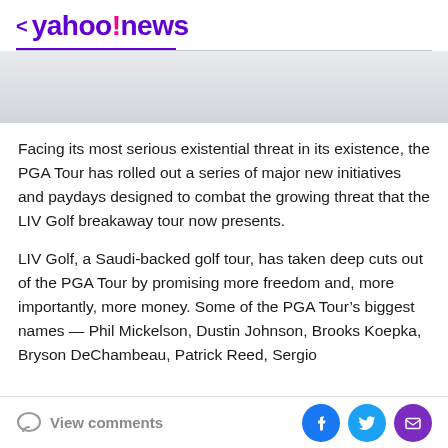< yahoo!news
[Figure (other): Gray advertisement banner area]
Facing its most serious existential threat in its existence, the PGA Tour has rolled out a series of major new initiatives and paydays designed to combat the growing threat that the LIV Golf breakaway tour now presents.
LIV Golf, a Saudi-backed golf tour, has taken deep cuts out of the PGA Tour by promising more freedom and, more importantly, more money. Some of the PGA Tour’s biggest names — Phil Mickelson, Dustin Johnson, Brooks Koepka, Bryson DeChambeau, Patrick Reed, Sergio
View comments